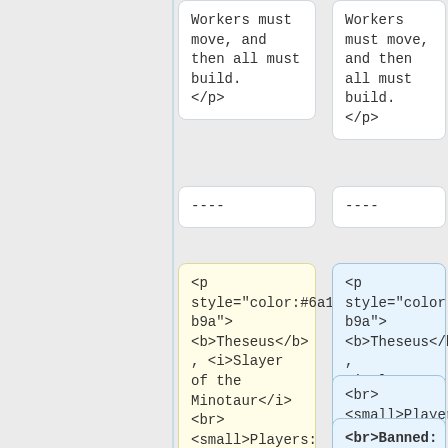Workers must move, and then all must build. </p>
Workers must move, and then all must build. </p>
----
----
<p style="color:#6a1b9a"> <b>Theseus</b> , <i>Slayer of the Minotaur</i><br> <small>Players: 2 &mdash; Hero Power</small> </p>
<p style="color:#6a1b9a"> <b>Theseus</b> , <i>Slayer of the Minotaur</i>
<br> <small>Players: 2 &mdash; Hero Power
<br>Banned: